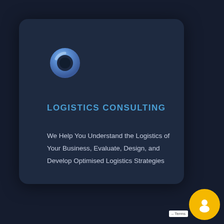[Figure (logo): Circular ring logo with blue/purple gradient and dark center hole, resembling a logistics or tracking icon]
LOGISTICS CONSULTING
We Help You Understand the Logistics of Your Business, Evaluate, Design, and Develop Optimised Logistics Strategies